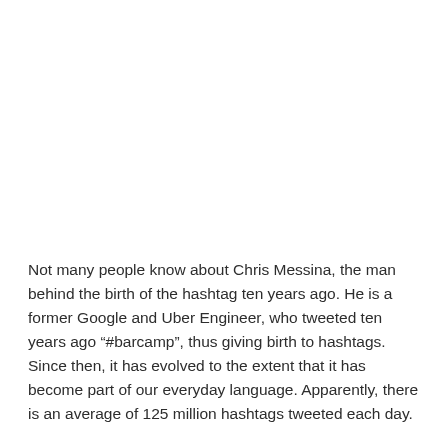Not many people know about Chris Messina, the man behind the birth of the hashtag ten years ago. He is a former Google and Uber Engineer, who tweeted ten years ago “#barcamp”, thus giving birth to hashtags. Since then, it has evolved to the extent that it has become part of our everyday language. Apparently, there is an average of 125 million hashtags tweeted each day.